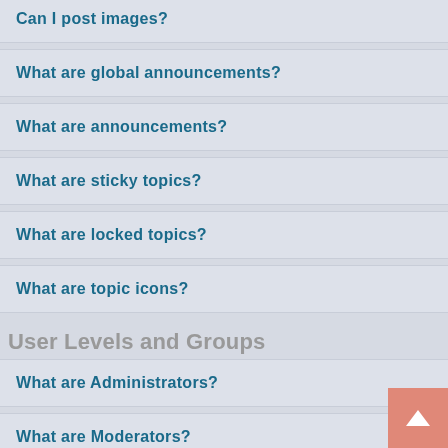Can I post images?
What are global announcements?
What are announcements?
What are sticky topics?
What are locked topics?
What are topic icons?
User Levels and Groups
What are Administrators?
What are Moderators?
What are usergroups?